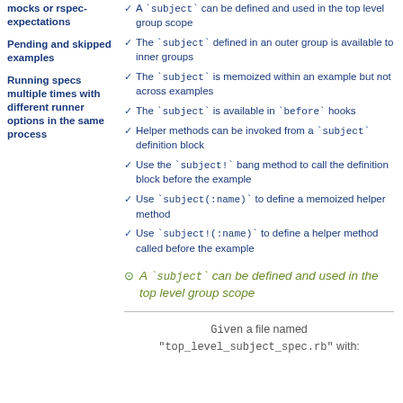mocks or rspec-expectations
Pending and skipped examples
Running specs multiple times with different runner options in the same process
A `subject` can be defined and used in the top level group scope
The `subject` defined in an outer group is available to inner groups
The `subject` is memoized within an example but not across examples
The `subject` is available in `before` hooks
Helper methods can be invoked from a `subject` definition block
Use the `subject!` bang method to call the definition block before the example
Use `subject(:name)` to define a memoized helper method
Use `subject!(:name)` to define a helper method called before the example
A `subject` can be defined and used in the top level group scope
Given a file named "top_level_subject_spec.rb" with: